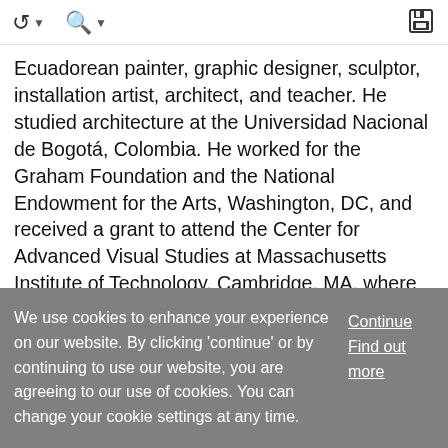navigation icons: back/forward with caret, search with caret, save/floppy disk icon
Ecuadorean painter, graphic designer, sculptor, installation artist, architect, and teacher. He studied architecture at the Universidad Nacional de Bogotá, Colombia. He worked for the Graham Foundation and the National Endowment for the Arts, Washington, DC, and received a grant to attend the Center for Advanced Visual Studies at Massachusetts Institute of Technology, Cambridge, MA, where he worked with György Kepes. Later he became a professor at the arts faculty of the Universidad Central, Quito. Bueno worked first in graphic design
... Show More
We use cookies to enhance your experience on our website. By clicking 'continue' or by continuing to use our website, you are agreeing to our use of cookies. You can change your cookie settings at any time.
Continue
Find out more